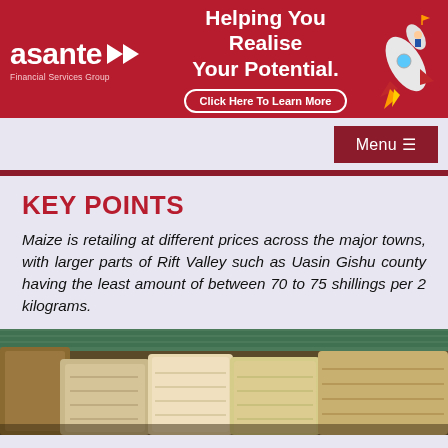[Figure (other): Asante Financial Services Group banner advertisement with red background, logo on left, headline 'Helping You Realise Your Potential.' in center, and rocket illustration on right. Button reads 'Click Here To Learn More']
Menu ≡
KEY POINTS
Maize is retailing at different prices across the major towns, with larger parts of Rift Valley such as Uasin Gishu county having the least amount of between 70 to 75 shillings per 2 kilograms.
[Figure (photo): Photo of stacked grain/maize sacks in a warehouse or storage facility]